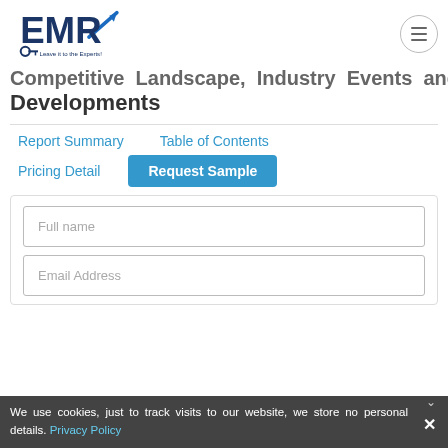EMR - Leave it to the Experts!
Competitive Landscape, Industry Events and Developments
Report Summary   Table of Contents
Pricing Detail   Request Sample
Full name
Email Address
We use cookies, just to track visits to our website, we store no personal details. Privacy Policy